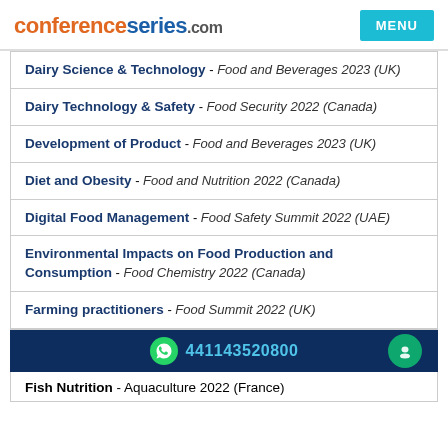conferenceseries.com
Dairy Science & Technology - Food and Beverages 2023 (UK)
Dairy Technology & Safety - Food Security 2022 (Canada)
Development of Product - Food and Beverages 2023 (UK)
Diet and Obesity - Food and Nutrition 2022 (Canada)
Digital Food Management - Food Safety Summit 2022 (UAE)
Environmental Impacts on Food Production and Consumption - Food Chemistry 2022 (Canada)
Farming practitioners - Food Summit 2022 (UK)
441143520800
Fish Nutrition - Aquaculture 2022 (France)